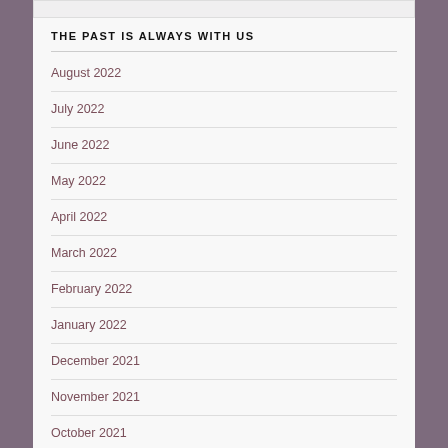THE PAST IS ALWAYS WITH US
August 2022
July 2022
June 2022
May 2022
April 2022
March 2022
February 2022
January 2022
December 2021
November 2021
October 2021
September 2021